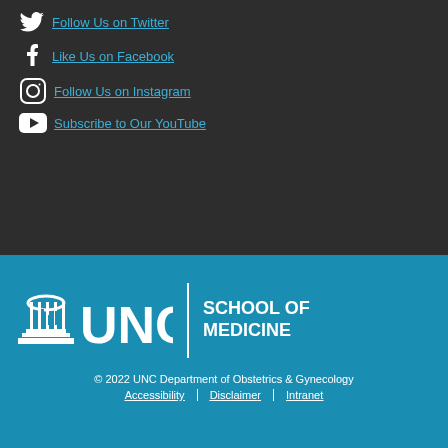Follow Us on Twitter
Like Us on Facebook
Follow Us on Instagram
Subscribe to Our YouTube
[Figure (logo): UNC School of Medicine logo with building icon and text]
© 2022 UNC Department of Obstetrics & Gynecology
Accessibility | Disclaimer | Intranet